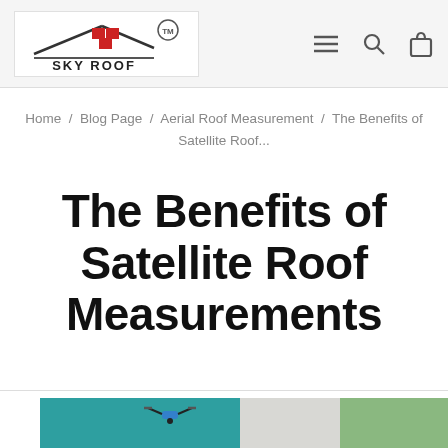SKY ROOF TM
Home / Blog Page / Aerial Roof Measurement / The Benefits of Satellite Roof...
The Benefits of Satellite Roof Measurements
[Figure (photo): Aerial/drone photo of rooftops with teal and green sections, partially visible at bottom of page]